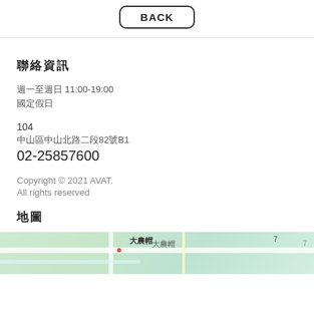BACK
聯絡資訊
週一至週日 11:00-19:00
國定假日
104
中山區中山北路二段82號B1
02-25857600
Copyright © 2021 AVAT.
All rights reserved
地圖
[Figure (map): Google Maps preview showing area near 大農帽, with roads and colored map tiles]